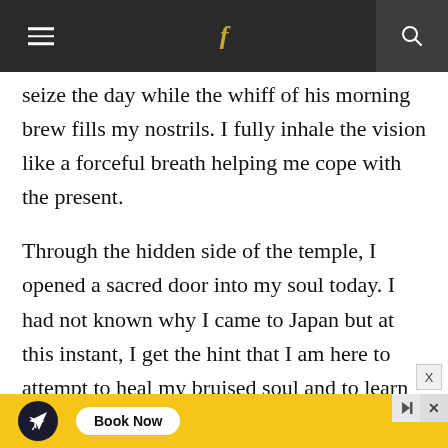Navigation bar with hamburger menu, Facebook icon, and search icon
seize the day while the whiff of his morning brew fills my nostrils. I fully inhale the vision like a forceful breath helping me cope with the present.
Through the hidden side of the temple, I opened a sacred door into my soul today. I had not known why I came to Japan but at this instant, I get the hint that I am here to attempt to heal my bruised soul and to learn to remember the joy of waking up in the morning next to my beloved, drinking tea in bed, and welcoming the
[Figure (other): Yellow advertisement banner with airplane icon and Book Now button]